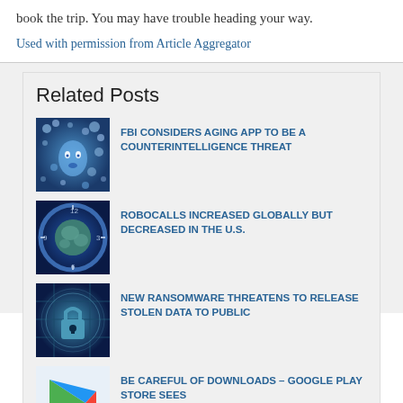book the trip. You may have trouble heading your way.
Used with permission from Article Aggregator
Related Posts
FBI CONSIDERS AGING APP TO BE A COUNTERINTELLIGENCE THREAT
ROBOCALLS INCREASED GLOBALLY BUT DECREASED IN THE U.S.
NEW RANSOMWARE THREATENS TO RELEASE STOLEN DATA TO PUBLIC
BE CAREFUL OF DOWNLOADS – GOOGLE PLAY STORE SEES